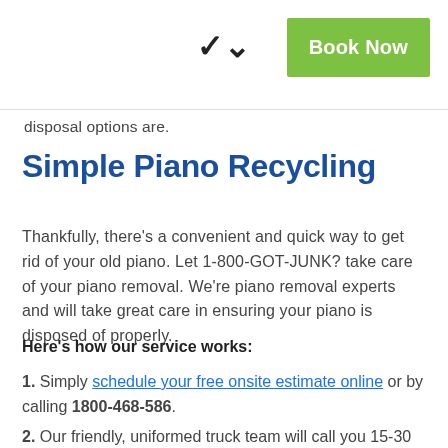▼  Book Now
disposal options are.
Simple Piano Recycling
Thankfully, there's a convenient and quick way to get rid of your old piano. Let 1-800-GOT-JUNK? take care of your piano removal. We're piano removal experts and will take great care in ensuring your piano is disposed of properly.
Here's how our service works:
1. Simply schedule your free onsite estimate online or by calling 1800-468-586.
2. Our friendly, uniformed truck team will call you 15-30 minutes before your scheduled 2-hour appointment